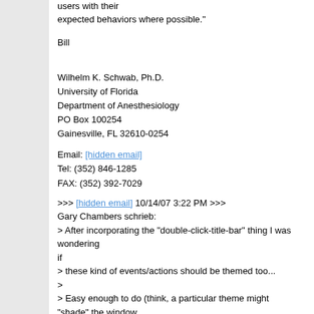users with their expected behaviors where possible."
Bill
Wilhelm K. Schwab, Ph.D.
University of Florida
Department of Anesthesiology
PO Box 100254
Gainesville, FL 32610-0254
Email: [hidden email]
Tel: (352) 846-1285
FAX: (352) 392-7029
>>> [hidden email] 10/14/07 3:22 PM >>>
Gary Chambers schrieb:
> After incorporating the "double-click-title-bar" thing I was wondering if
> these kind of events/actions should be themed too...
>
> Easy enough to do (think, a particular theme might "shade" the window instead, or minimize, or whatever.
>
> In generally it would mean that the feel could be themed along with the